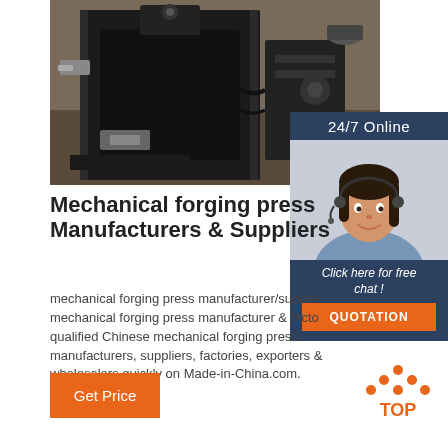[Figure (photo): Industrial mechanical forging press machine photographed in a manufacturing facility, dark steel machinery with various components visible]
[Figure (photo): Customer service agent - woman with headset smiling, '24/7 Online' banner above, 'Click here for free chat!' text and orange QUOTATION button below]
Mechanical forging press Manufacturers & Suppliers
mechanical forging press manufacturer/supplier, mechanical forging press manufacturer & factory list, find qualified Chinese mechanical forging press manufacturers, suppliers, factories, exporters & wholesalers quickly on Made-in-China.com.
[Figure (other): Orange 'Get Price' button]
[Figure (logo): TOP logo with orange dots arranged in triangle above orange text 'TOP']